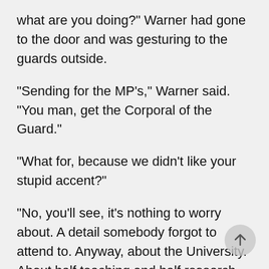what are you doing?" Warner had gone to the door and was gesturing to the guards outside.
"Sending for the MP's," Warner said. "You man, get the Corporal of the Guard."
"What for, because we didn't like your stupid accent?"
"No, you'll see, it's nothing to worry about. A detail somebody forgot to attend to. Anyway, about the University. About half teaching and half research. McCleve teaches the acolytes of Yatar about sanitation and cleanliness. I teach math. Campbell does engineering. Even the Captain takes a stint at teaching. But mostly we've got teams of students and